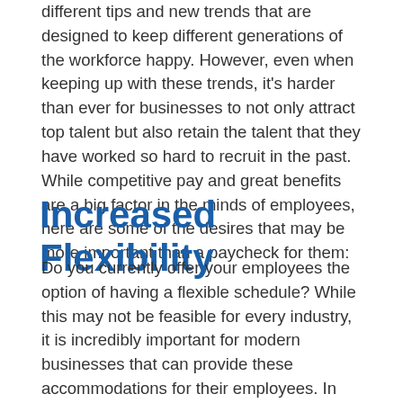different tips and new trends that are designed to keep different generations of the workforce happy. However, even when keeping up with these trends, it's harder than ever for businesses to not only attract top talent but also retain the talent that they have worked so hard to recruit in the past. While competitive pay and great benefits are a big factor in the minds of employees, here are some of the desires that may be more important than a paycheck for them:
Increased Flexibility
Do you currently offer your employees the option of having a flexible schedule? While this may not be feasible for every industry, it is incredibly important for modern businesses that can provide these accommodations for their employees. In fact, according to a 2016 survey, 84% of working parents said a flexible schedule is the most important factor when looking for